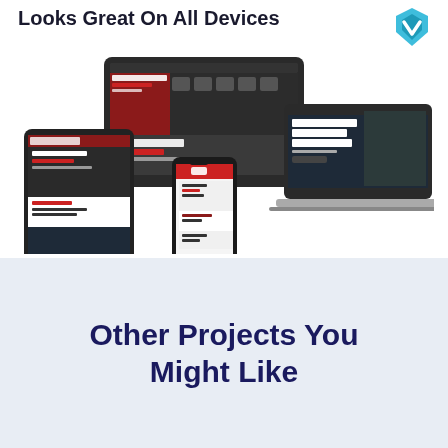Looks Great On All Devices
[Figure (screenshot): Responsive web design mockup showing a glass repair services website displayed on desktop monitor, iMac, tablet, laptop, and smartphone devices. The website features a dark red and grey color scheme with 'MISTER GLASS CORE SERVICES' and 'GLASS REPAIR SERVICES' headings visible across devices.]
[Figure (logo): Vuejs or similar blue/cyan checkmark shield logo in top right corner]
Other Projects You Might Like